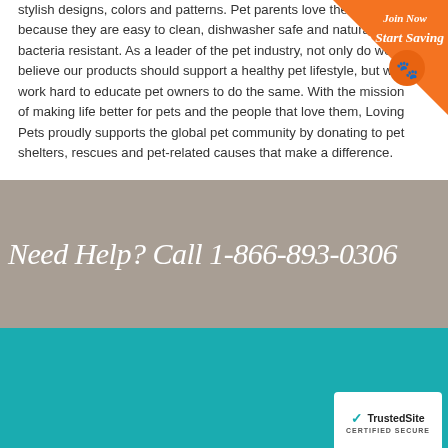stylish designs, colors and patterns. Pet parents love them because they are easy to clean, dishwasher safe and naturally bacteria resistant. As a leader of the pet industry, not only do we believe our products should support a healthy pet lifestyle, but we work hard to educate pet owners to do the same. With the mission of making life better for pets and the people that love them, Loving Pets proudly supports the global pet community by donating to pet shelters, rescues and pet-related causes that make a difference.
[Figure (other): Orange badge in top-right corner with text 'Join Now' and 'To Start Saving' with a pet silhouette icon]
Need Help? Call 1-866-893-0306
GET TIPS, INSPIRING STORIES AND THE LATEST FROM PETPLUS:
[Figure (other): Email signup input field with placeholder 'Enter Your Email' and an orange submit button with arrow]
[Figure (other): TrustedSite CERTIFIED SECURE badge in bottom right]